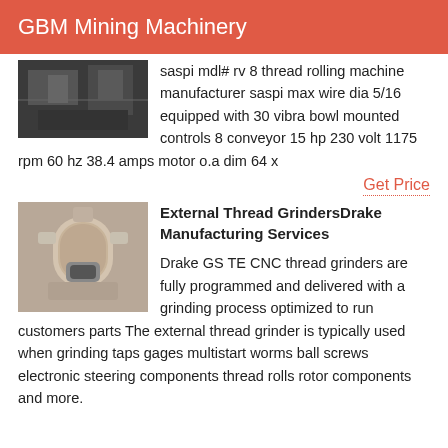GBM Mining Machinery
[Figure (photo): Industrial machinery interior, dark warehouse setting]
saspi mdl# rv 8 thread rolling machine manufacturer saspi max wire dia 5/16 equipped with 30 vibra bowl mounted controls 8 conveyor 15 hp 230 volt 1175 rpm 60 hz 38.4 amps motor o.a dim 64 x
Get Price
[Figure (photo): Large industrial grinder machine, beige/cream colored cylindrical equipment]
External Thread GrindersDrake Manufacturing Services
Drake GS TE CNC thread grinders are fully programmed and delivered with a grinding process optimized to run customers parts The external thread grinder is typically used when grinding taps gages multistart worms ball screws electronic steering components thread rolls rotor components and more.